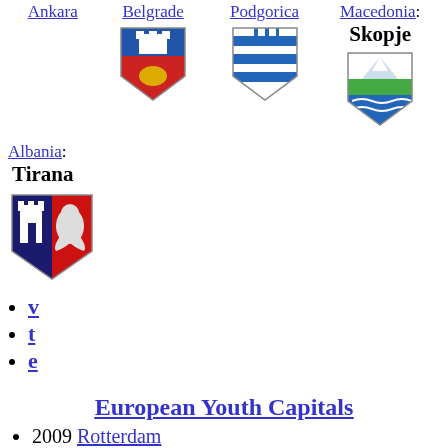[Figure (illustration): Coat of arms for Belgrade (top row, city link above)]
[Figure (illustration): Coat of arms for Podgorica (top row, city link above)]
[Figure (illustration): Coat of arms for Skopje / Macedonia (top row, city link above)]
Albania: Tirana
[Figure (illustration): Coat of arms for Tirana, Albania]
v
t
e
European Youth Capitals
2009 Rotterdam
2010 Turin
2011 Antwerp
2012 Braga
2013 Maribor
2014 Thessaloniki
2015 Cluj-Napoca